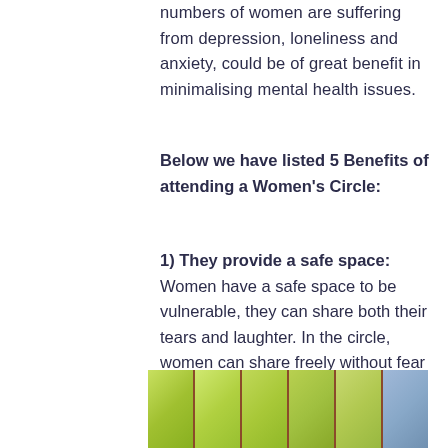numbers of women are suffering from depression, loneliness and anxiety, could be of great benefit in minimalising mental health issues.
Below we have listed 5 Benefits of attending a Women's Circle:
1) They provide a safe space: Women have a safe space to be vulnerable, they can share both their tears and laughter. In the circle, women can share freely without fear of judgement, in an environment that is safe and supported.
[Figure (photo): A series of panels showing trees with green foliage and branches against a light background, with some blue/sky tones on the right side. The panels are separated by dark brown vertical dividers.]